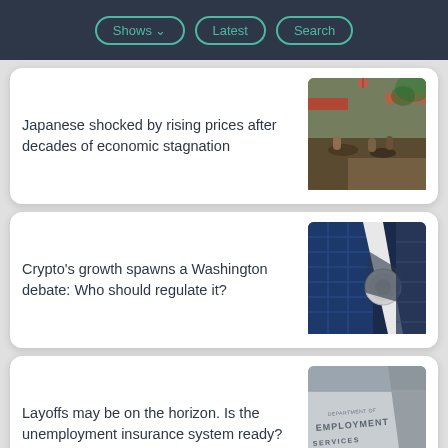Shows | Latest | Search
Japanese shocked by rising prices after decades of economic stagnation
[Figure (photo): People sitting at outdoor tables along a narrow street in Japan]
Crypto's growth spawns a Washington debate: Who should regulate it?
[Figure (photo): Looking up at the SEC building with logo visible]
Layoffs may be on the horizon. Is the unemployment insurance system ready?
[Figure (photo): Sign reading Department of Employment Services on a building]